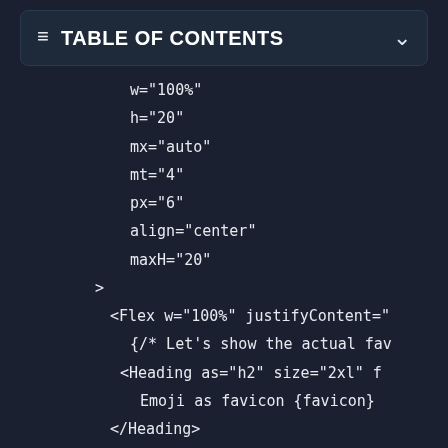TABLE OF CONTENTS
w="100%"
h="20"
mx="auto"
mt="4"
px="6"
align="center"
maxH="20"
>
<Flex w="100%" justifyContent="
{/* Let's show the actual fav
<Heading as="h2" size="2xl" f
Emoji as favicon {favicon}
</Heading>